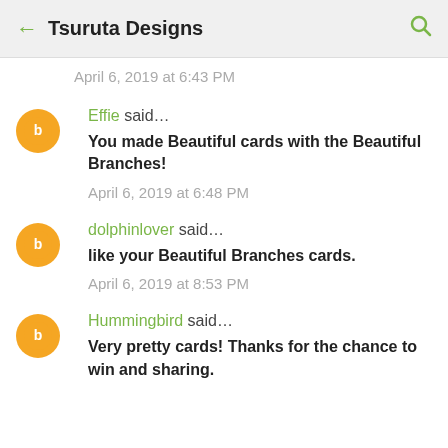Tsuruta Designs
April 6, 2019 at 6:43 PM
Effie said… You made Beautiful cards with the Beautiful Branches!
April 6, 2019 at 6:48 PM
dolphinlover said… like your Beautiful Branches cards.
April 6, 2019 at 8:53 PM
Hummingbird said… Very pretty cards! Thanks for the chance to win and sharing.